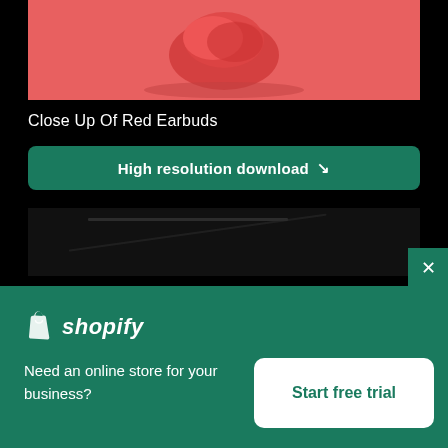[Figure (photo): Close-up photo of red wireless earbuds on a coral/red background, top portion cropped]
Close Up Of Red Earbuds
High resolution download ↓
[Figure (photo): Dark/black photo preview, second image in series]
[Figure (logo): Shopify logo with shopping bag icon and italic shopify text]
Need an online store for your business?
Start free trial